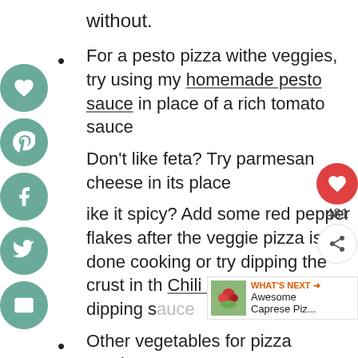without.
For a pesto pizza withe veggies, try using my homemade pesto sauce in place of a rich tomato sauce
Don't like feta? Try parmesan cheese in its place
Like it spicy? Add some red pepper flakes after the veggie pizza is done cooking or try dipping the crust in the Chili Garlic Oil for a dipping sauce
Other vegetables for pizza toppings: